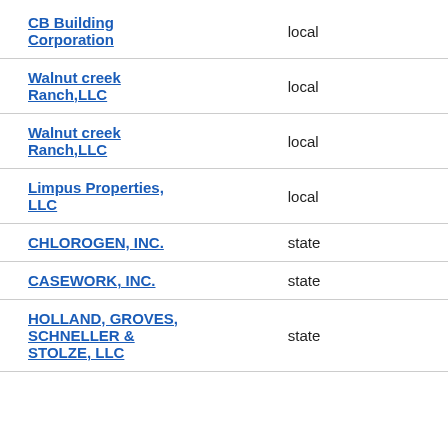| Name | Type |  |
| --- | --- | --- |
| CB Building Corporation | local |  |
| Walnut creek Ranch,LLC | local |  |
| Walnut creek Ranch,LLC | local |  |
| Limpus Properties, LLC | local |  |
| CHLOROGEN, INC. | state |  |
| CASEWORK, INC. | state |  |
| HOLLAND, GROVES, SCHNELLER & STOLZE, LLC | state |  |